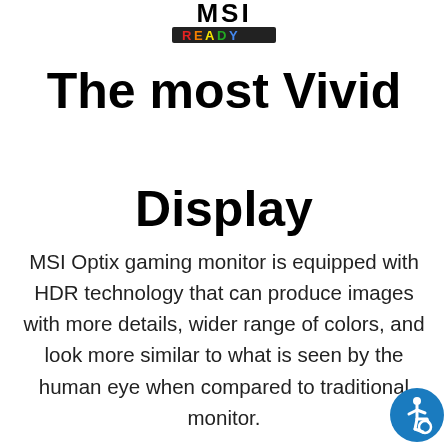[Figure (logo): MSI HDR Ready logo at the top center — bold MSI text above a multicolored READY badge]
The most Vivid Display
MSI Optix gaming monitor is equipped with HDR technology that can produce images with more details, wider range of colors, and look more similar to what is seen by the human eye when compared to traditional monitor.
[Figure (illustration): Accessibility (wheelchair) icon in a blue circle at the bottom right corner]